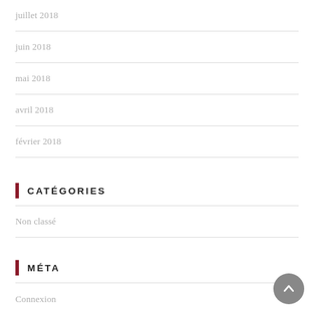juillet 2018
juin 2018
mai 2018
avril 2018
février 2018
Catégories
Non classé
Méta
Connexion
Flux des publications
Flux des commentaires
Site de WordPress-FR